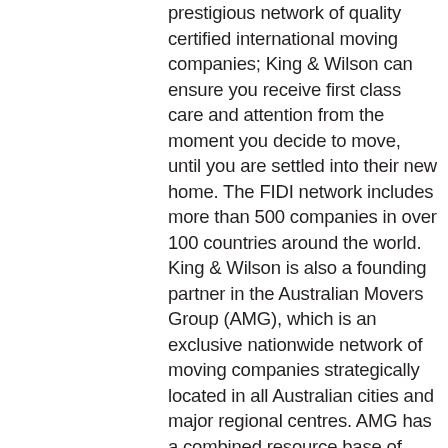prestigious network of quality certified international moving companies; King & Wilson can ensure you receive first class care and attention from the moment you decide to move, until you are settled into their new home. The FIDI network includes more than 500 companies in over 100 countries around the world. King & Wilson is also a founding partner in the Australian Movers Group (AMG), which is an exclusive nationwide network of moving companies strategically located in all Australian cities and major regional centres. AMG has a combined resource base of approximately 300 staff, in excess of 700 customised line haul containers and specialist vehicles and some 30,000m³ of high security storage warehousing. Detailed reporting structures are well established ensuring documentation and feedback is instantly reported to all parties. This system ensures performance is constantly measured with Global Partners who